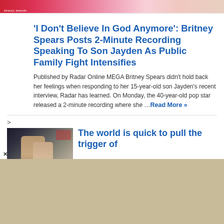[Figure (photo): Top banner photo strip showing a partial celebrity/awards image with red and pink tones, partially cropped]
'I Don't Believe In God Anymore': Britney Spears Posts 2-Minute Recording Speaking To Son Jayden As Public Family Fight Intensifies
Published by Radar Online MEGA Britney Spears didn't hold back her feelings when responding to her 15-year-old son Jayden's recent interview, Radar has learned. On Monday, the 40-year-old pop star released a 2-minute recording where she …
Read More »
>
[Figure (photo): Photo of a man in a suit with a woman beside him at what appears to be a public event]
The world is quick to pull the trigger of